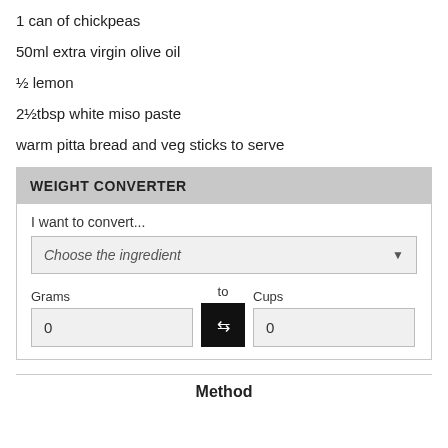1 can of chickpeas
50ml extra virgin olive oil
½ lemon
2½tbsp white miso paste
warm pitta bread and veg sticks to serve
WEIGHT CONVERTER
I want to convert...
Choose the ingredient
Grams   to   Cups
0          0
Method